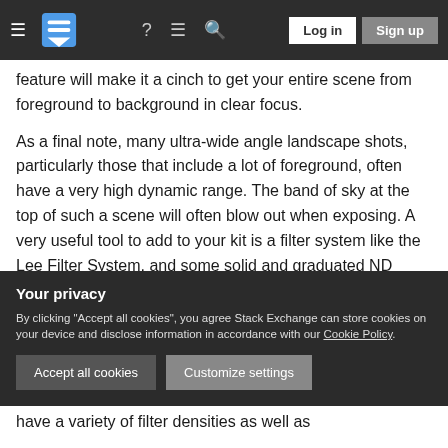Stack Exchange navigation bar with hamburger menu, logo, icons, Log in and Sign up buttons
feature will make it a cinch to get your entire scene from foreground to background in clear focus.
As a final note, many ultra-wide angle landscape shots, particularly those that include a lot of foreground, often have a very high dynamic range. The band of sky at the top of such a scene will often blow out when exposing. A very useful tool to add to your kit is a filter system like the Lee Filter System, and some solid and graduated ND filters. Solid ND filters will allow you to expose for a lengthier time and achieve those types of scenes with glassy-
Your privacy
By clicking "Accept all cookies", you agree Stack Exchange can store cookies on your device and disclose information in accordance with our Cookie Policy.
Accept all cookies
Customize settings
have a variety of filter densities as well as